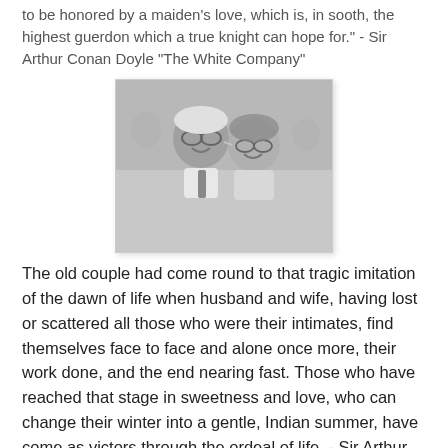to be honored by a maiden's love, which is, in sooth, the highest guerdon which a true knight can hope for." - Sir Arthur Conan Doyle "The White Company"
[Figure (photo): Black and white photo of an elderly couple, cheek to cheek, smiling warmly at the camera.]
The old couple had come round to that tragic imitation of the dawn of life when husband and wife, having lost or scattered all those who were their intimates, find themselves face to face and alone once more, their work done, and the end nearing fast. Those who have reached that stage in sweetness and love, who can change their winter into a gentle, Indian summer, have come as victors through the ordeal of life. - Sir Arthur Conan Doyle "The Brown Hand"
[Figure (photo): Colorful painting resembling Klimt's The Kiss, showing two figures embracing with golden decorative patterns.]